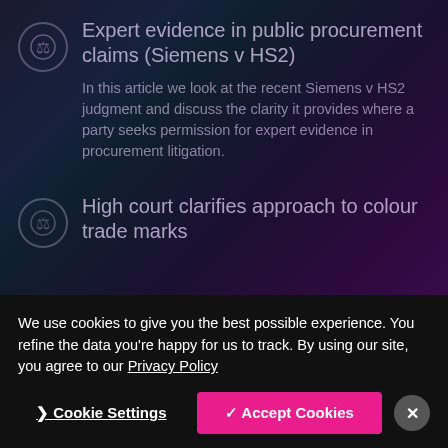Expert evidence in public procurement claims (Siemens v HS2)
In this article we look at the recent Siemens v HS2 judgment and discuss the clarity it provides where a party seeks permission for expert evidence in procurement litigation.
High court clarifies approach to colour trade marks
We use cookies to give you the best possible experience. You refine the data you're happy for us to track. By using our site, you agree to our Privacy Policy